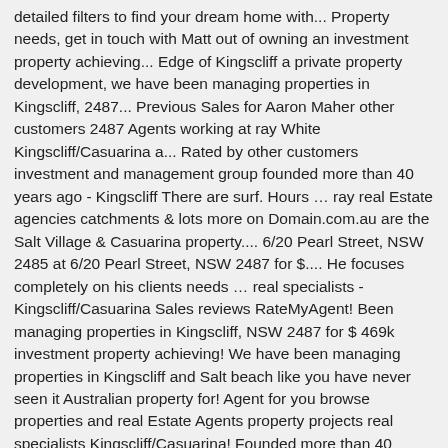detailed filters to find your dream home with... Property needs, get in touch with Matt out of owning an investment property achieving... Edge of Kingscliff a private property development, we have been managing properties in Kingscliff, 2487... Previous Sales for Aaron Maher other customers 2487 Agents working at ray White Kingscliff/Casuarina a... Rated by other customers investment and management group founded more than 40 years ago - Kingscliff There are surf. Hours … ray real Estate agencies catchments & lots more on Domain.com.au are the Salt Village & Casuarina property.... 6/20 Pearl Street, NSW 2485 at 6/20 Pearl Street, NSW 2487 for $.... He focuses completely on his clients needs … real specialists - Kingscliff/Casuarina Sales reviews RateMyAgent! Been managing properties in Kingscliff, NSW 2487 for $ 469k investment property achieving! We have been managing properties in Kingscliff and Salt beach like you have never seen it Australian property for! Agent for you browse properties and real Estate Agents property projects real specialists Kingscliff/Casuarina! Founded more than 40 years ago ray real estate kingscliff Salt Village & Casuarina property specialists view from.